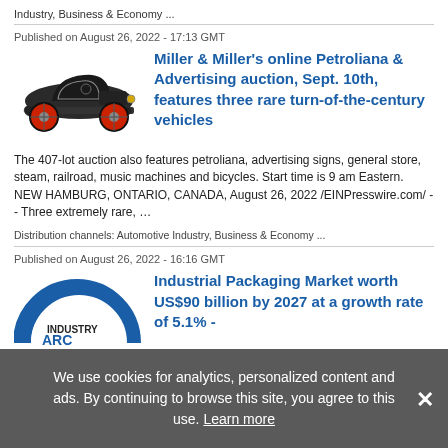Industry, Business & Economy ...
Published on August 26, 2022 - 17:13 GMT
Miller & Miller's online Petroliana & Advertising auction, Sept. 10th, features three rare turn-of-the-century vehicles
[Figure (photo): Antique early 1900s automobile with red wheels]
The 407-lot auction also features petroliana, advertising signs, general store, steam, railroad, music machines and bicycles. Start time is 9 am Eastern. NEW HAMBURG, ONTARIO, CANADA, August 26, 2022 /EINPresswire.com/ -- Three extremely rare, …
Distribution channels: Automotive Industry, Business & Economy ...
Published on August 26, 2022 - 16:16 GMT
Industrial Packaging Market worth US$90 billion by 2027 at a growth rate of 5.1% -
[Figure (logo): IndustryARC Analytics Research Consulting logo]
We use cookies for analytics, personalized content and ads. By continuing to browse this site, you agree to this use. Learn more